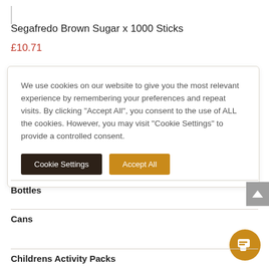Segafredo Brown Sugar x 1000 Sticks
£10.71
We use cookies on our website to give you the most relevant experience by remembering your preferences and repeat visits. By clicking "Accept All", you consent to the use of ALL the cookies. However, you may visit "Cookie Settings" to provide a controlled consent.
Bottles
Cans
Childrens Activity Packs